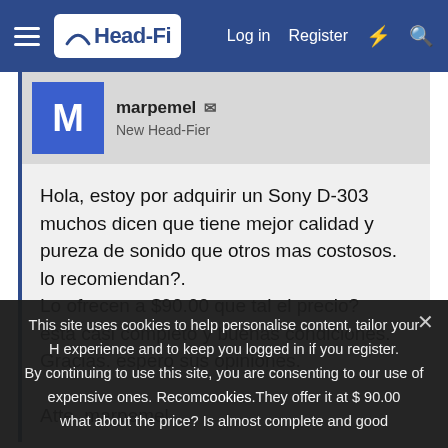Head-Fi — Log in  Register
marpemel
New Head-Fier
Hola, estoy por adquirir un Sony D-303 muchos dicen que tiene mejor calidad y pureza de sonido que otros mas costosos.
lo recomiendan?.
Lo ofrecen a $90.00 que tal el precio?
esta casi completo y buenas condiciones.
Gracias. espero sus opiniones.

Atte. marpemel
This site uses cookies to help personalise content, tailor your experience and to keep you logged in if you register. By continuing to use this site, you are consenting to our use of cookies.
expensive ones. Recom cookies. They offer it at $ 90.00 what about the price? Is almost complete and good